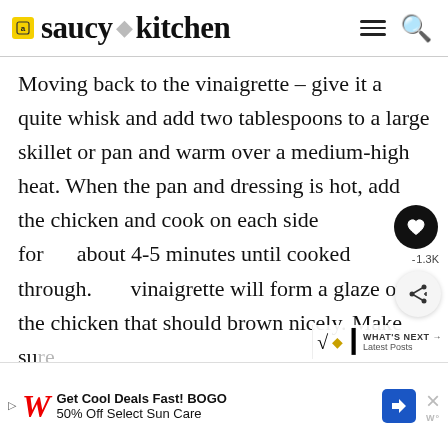saucy kitchen
Moving back to the vinaigrette – give it a quite whisk and add two tablespoons to a large skillet or pan and warm over a medium-high heat. When the pan and dressing is hot, add the chicken and cook on each side for about 4-5 minutes until cooked through. The vinaigrette will form a glaze on the chicken that should brown nicely. Make sure around the chicken every so often to keep from
Get Cool Deals Fast! BOGO 50% Off Select Sun Care